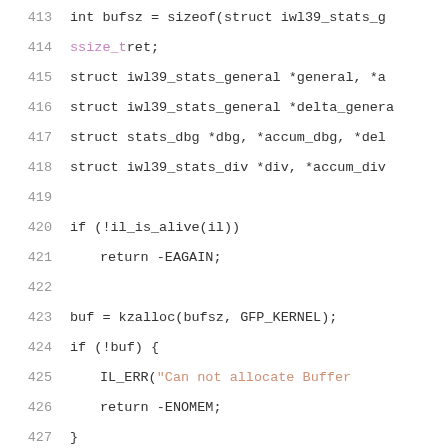[Figure (screenshot): Source code listing showing C kernel driver code with syntax highlighting. Lines 413-434 showing memory allocation, error handling, and comments about statistic information display. Line numbers in grey on left, code in various colors (purple for types, red for comments, dark for plain code).]